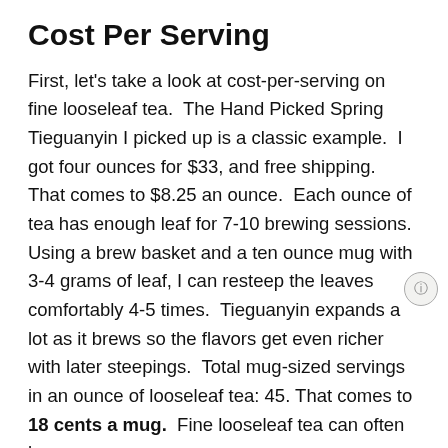Cost Per Serving
First, let's take a look at cost-per-serving on fine looseleaf tea.  The Hand Picked Spring Tieguanyin I picked up is a classic example.  I got four ounces for $33, and free shipping.  That comes to $8.25 an ounce.  Each ounce of tea has enough leaf for 7-10 brewing sessions.  Using a brew basket and a ten ounce mug with 3-4 grams of leaf, I can resteep the leaves comfortably 4-5 times.  Tieguanyin expands a lot as it brews so the flavors get even richer with later steepings.  Total mug-sized servings in an ounce of looseleaf tea: 45. That comes to 18 cents a mug.  Fine looseleaf tea can often be